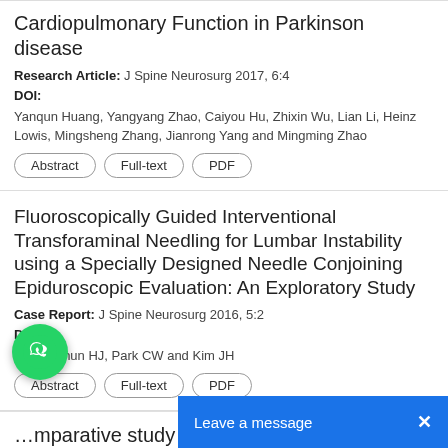Cardiopulmonary Function in Parkinson disease
Research Article: J Spine Neurosurg 2017, 6:4
DOI:
Yanqun Huang, Yangyang Zhao, Caiyou Hu, Zhixin Wu, Lian Li, Heinz Lowis, Mingsheng Zhang, Jianrong Yang and Mingming Zhao
Fluoroscopically Guided Interventional Transforaminal Needling for Lumbar Instability using a Specially Designed Needle Conjoining Epiduroscopic Evaluation: An Exploratory Study
Case Report: J Spine Neurosurg 2016, 5:2
DOI:
Ahn K, Jhun HJ, Park CW and Kim JH
…mparative study of the efficacy of the usual therapy for Parkinson's d…